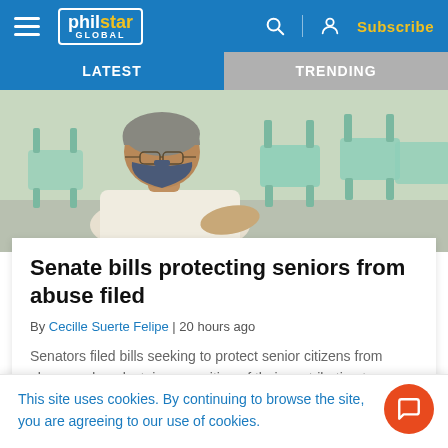philstar GLOBAL — Subscribe
LATEST | TRENDING
[Figure (photo): Elderly person wearing a face mask seated among green plastic chairs, viewed from the side]
Senate bills protecting seniors from abuse filed
By Cecille Suerte Felipe | 20 hours ago
Senators filed bills seeking to protect senior citizens from abuse and neglect, in recognition of their contribution to
This site uses cookies. By continuing to browse the site, you are agreeing to our use of cookies.